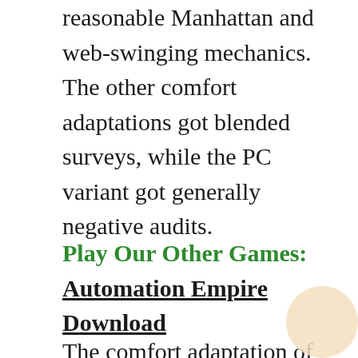reasonable Manhattan and web-swinging mechanics. The other comfort adaptations got blended surveys, while the PC variant got generally negative audits.
Play Our Other Games: Automation Empire Download
The comfort adaptation of Spider-Man 2 is a third-individual activity experience computer game, set in an open world dependent on New York City and made out of Manhattan, Roosevelt Island, Ellis Island, and Liberty Island. Players assume the part of Spider-Man and complete missions—direct situations with